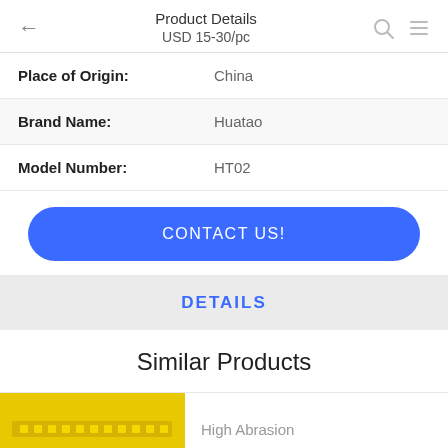Product Details / USD 15-30/pc
| Place of Origin: | China |
| Brand Name: | Huatao |
| Model Number: | HT02 |
CONTACT US!
DETAILS
Similar Products
High Abrasion